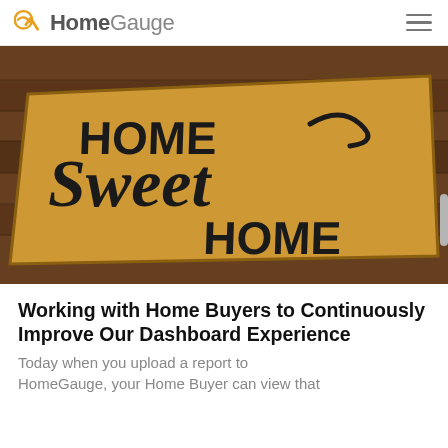HomeGauge
[Figure (photo): A 'Home Sweet Home' doormat on a wooden floor, photographed from above at an angle. The doormat is golden/tan colored with bold black text reading HOME Sweet HOME.]
Working with Home Buyers to Continuously Improve Our Dashboard Experience
Today when you upload a report to HomeGauge, your Home Buyer can view that